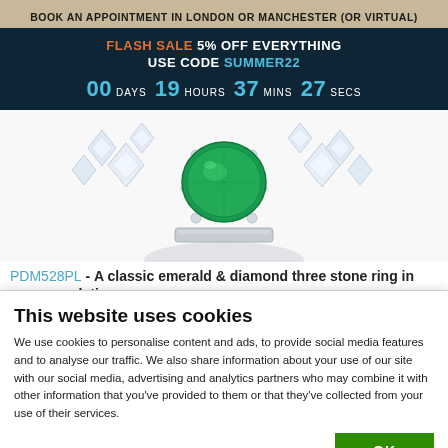BOOK AN APPOINTMENT IN LONDON OR MANCHESTER (OR VIRTUAL)
FLASH SALE 5% OFF EVERYTHING USE CODE SUMMER22 00 DAYS 19 HOURS 37 MINS 27 SECS
[Figure (photo): Close-up of a classic emerald and diamond three stone ring in platinum, showing a large round green emerald center stone flanked by two diamond clusters, set in a white metal band.]
PDM528PL - A classic emerald & diamond three stone ring in platinum
This website uses cookies
We use cookies to personalise content and ads, to provide social media features and to analyse our traffic. We also share information about your use of our site with our social media, advertising and analytics partners who may combine it with other information that you've provided to them or that they've collected from your use of their services.
OK
Necessary  Preferences  Statistics  Marketing  Show details